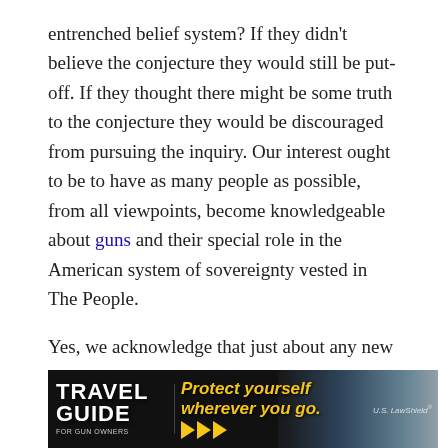entrenched belief system? If they didn't believe the conjecture they would still be put-off. If they thought there might be some truth to the conjecture they would be discouraged from pursuing the inquiry. Our interest ought to be to have as many people as possible, from all viewpoints, become knowledgeable about guns and their special role in the American system of sovereignty vested in The People.
Yes, we acknowledge that just about any new experience is apt to have some subtle influence on one's sentiments on other topics. Perhaps a committed vegetarian might develop an understanding of the argument of field-to-fork; but it's not a prerequisite.
[Figure (infographic): Travel Guide for Gun Owners advertisement banner. Dark background with golden text reading 'Protect yourself wherever you go.' with orange arrow play buttons and U.S. LawShield branding on the right.]